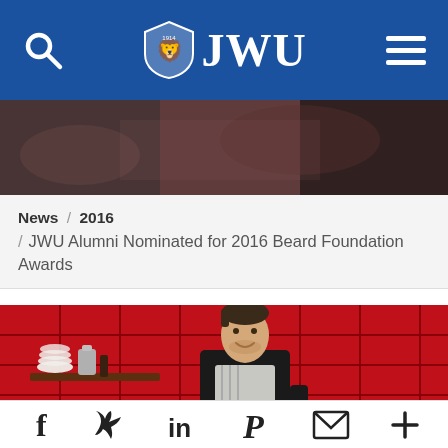JWU - Johnson & Wales University
[Figure (photo): Dark blurred photo strip serving as hero banner image behind navigation]
News / 2016 / JWU Alumni Nominated for 2016 Beard Foundation Awards
[Figure (photo): Chef in black shirt and striped apron standing in front of red tile wall with white dishes on a shelf]
Social sharing icons: Facebook, Twitter, LinkedIn, Pinterest, Email, More